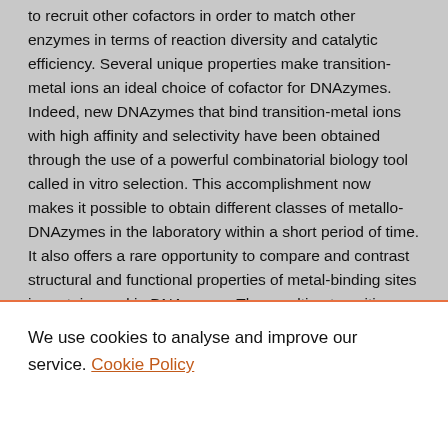to recruit other cofactors in order to match other enzymes in terms of reaction diversity and catalytic efficiency. Several unique properties make transition-metal ions an ideal choice of cofactor for DNAzymes. Indeed, new DNAzymes that bind transition-metal ions with high affinity and selectivity have been obtained through the use of a powerful combinatorial biology tool called in vitro selection. This accomplishment now makes it possible to obtain different classes of metallo-DNAzymes in the laboratory within a short period of time. It also offers a rare opportunity to compare and contrast structural and functional properties of metal-binding sites in proteins and in DNAzymes. The resulting transition-metal-dependent DNAzymes have displayed high activity toward cleavage of DNA and RNA and thus hold promise for their biochemical and pharmaceutical applications. Finally, the use of DNAzymes as a new class of highly sensitive and selective biosensors for metal ions has been demonstrated recently.
We use cookies to analyse and improve our service. Cookie Policy